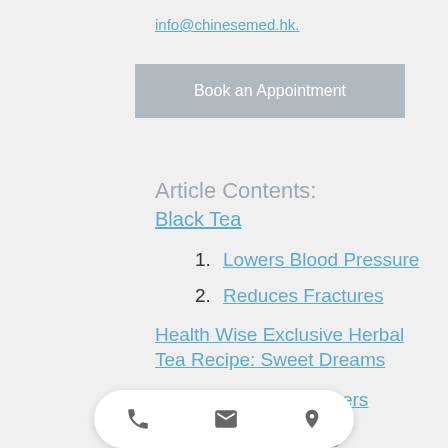info@chinesemed.hk.
[Figure (other): Book an Appointment button - grey rectangular button]
Article Contents:
Black Tea
1. Lowers Blood Pressure
2. Reduces Fractures
Health Wise Exclusive Herbal Tea Recipe: Sweet Dreams
Health Wise Practitioners
Learn...ine
[Figure (other): Mobile bottom navigation bar with phone, email, and location icons]